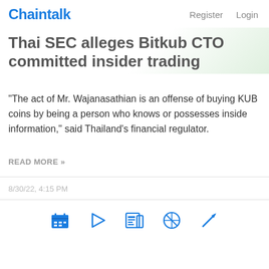Chaintalk   Register   Login
Thai SEC alleges Bitkub CTO committed insider trading
"The act of Mr. Wajanasathian is an offense of buying KUB coins by being a person who knows or possesses inside information," said Thailand's financial regulator.
READ MORE »
8/30/22, 4:15 PM